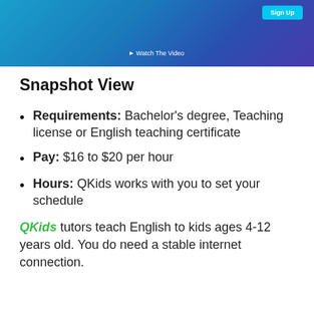[Figure (screenshot): Banner/header screenshot of a website with blue-purple gradient background, a cyan 'Sign Up' button in the top right, and a 'Watch The Video' link centered near the bottom]
Snapshot View
Requirements: Bachelor's degree, Teaching license or English teaching certificate
Pay: $16 to $20 per hour
Hours: QKids works with you to set your schedule
QKids tutors teach English to kids ages 4-12 years old. You do need a stable internet connection.